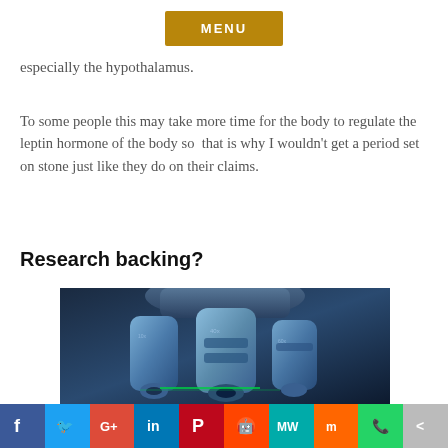MENU
especially the hypothalamus.
To some people this may take more time for the body to regulate the leptin hormone of the body so  that is why I wouldn't get a period set on stone just like they do on their claims.
Research backing?
[Figure (photo): Close-up photograph of a microscope objective lenses with blue metallic tones and green laser light]
f  Twitter  G+  in  P  Reddit  MW  Mix  WhatsApp  Share